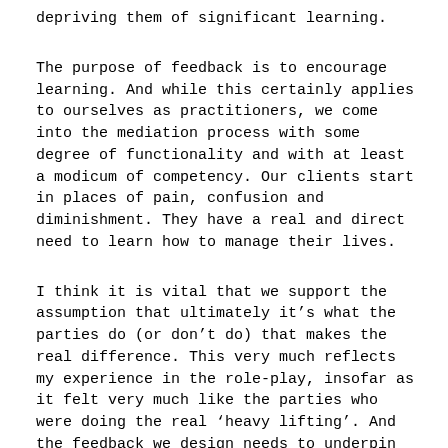depriving them of significant learning.
The purpose of feedback is to encourage learning. And while this certainly applies to ourselves as practitioners, we come into the mediation process with some degree of functionality and with at least a modicum of competency. Our clients start in places of pain, confusion and diminishment. They have a real and direct need to learn how to manage their lives.
I think it is vital that we support the assumption that ultimately it’s what the parties do (or don’t do) that makes the real difference. This very much reflects my experience in the role-play, insofar as it felt very much like the parties who were doing the real ‘heavy lifting’. And the feedback we design needs to underpin this notion. This means asking people questions to help them reflect on their